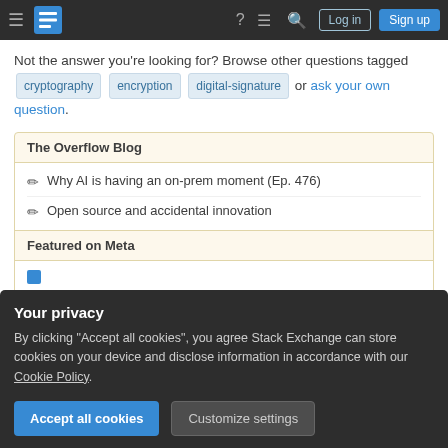Stack Exchange navigation bar with Log in and Sign up buttons
Not the answer you're looking for? Browse other questions tagged cryptography encryption digital-signature or ask your own question.
The Overflow Blog
Why AI is having an on-prem moment (Ep. 476)
Open source and accidental innovation
Featured on Meta
Your privacy
By clicking "Accept all cookies", you agree Stack Exchange can store cookies on your device and disclose information in accordance with our Cookie Policy.
Accept all cookies
Customize settings